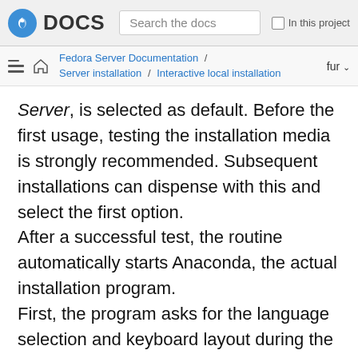Fedora DOCS | Search the docs | In this project
Fedora Server Documentation / Server installation / Interactive local installation | fur
Server, is selected as default. Before the first usage, testing the installation media is strongly recommended. Subsequent installations can dispense with this and select the first option.
After a successful test, the routine automatically starts Anaconda, the actual installation program.
First, the program asks for the language selection and keyboard layout during the installation phase. Both are also adopted as default settings for the system to be installed. You can adjust it in the next step.